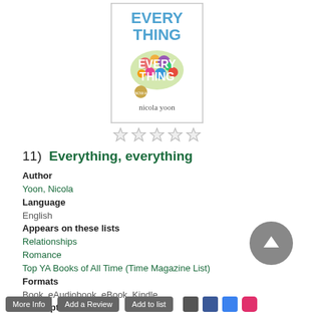[Figure (illustration): Book cover of 'Everything, Everything' by Nicola Yoon, showing text EVERYTHING overlaid with colorful floral/botanical illustration and author name at bottom]
[Figure (other): Five empty star rating icons in a row]
11)  Everything, everything
Author
Yoon, Nicola
Language
English
Appears on these lists
Relationships
Romance
Top YA Books of All Time (Time Magazine List)
Formats
Book, eAudiobook, eBook, Kindle
Description
Read Description
More Info  Add a Review  Add to list